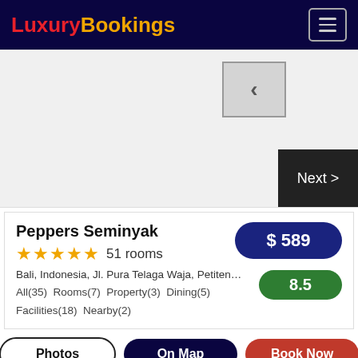LuxuryBookings
[Figure (screenshot): Hotel image slideshow area with a previous arrow button (left chevron) and a Next > button]
Peppers Seminyak
51 rooms
Bali, Indonesia, Jl. Pura Telaga Waja, Petiten…
All(35)  Rooms(7)  Property(3)  Dining(5)  Facilities(18)  Nearby(2)
$ 589
8.5